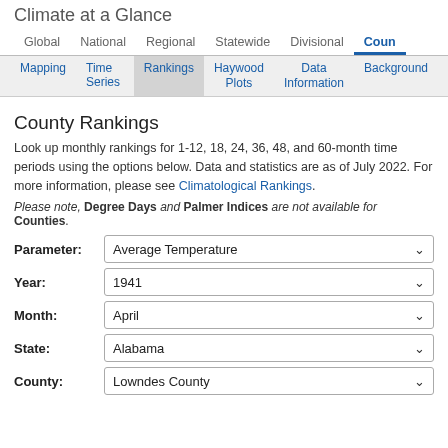Climate at a Glance
Global  National  Regional  Statewide  Divisional  Coun[ty]
Mapping  Time Series  Rankings  Haywood Plots  Data Information  Background
County Rankings
Look up monthly rankings for 1-12, 18, 24, 36, 48, and 60-month time periods using the options below. Data and statistics are as of July 2022. For more information, please see Climatological Rankings.
Please note, Degree Days and Palmer Indices are not available for Counties.
Parameter: Average Temperature
Year: 1941
Month: April
State: Alabama
County: Lowndes County